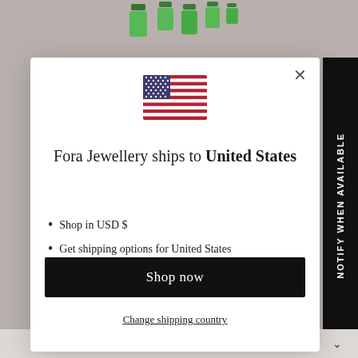[Figure (screenshot): Background image of jewellery (green gem earrings) partially visible behind modal]
[Figure (screenshot): US flag emoji/icon shown in modal]
Fora Jewellery ships to United States
Shop in USD $
Get shipping options for United States
Shop now
Change shipping country
SIGN UP FOR NEWS AND OFFERS